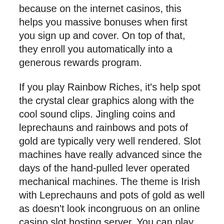because on the internet casinos, this helps you massive bonuses when first you sign up and cover. On top of that, they enroll you automatically into a generous rewards program.
If you play Rainbow Riches, it's help spot the crystal clear graphics along with the cool sound clips. Jingling coins and leprechauns and rainbows and pots of gold are typically very well rendered. Slot machines have really advanced since the days of the hand-pulled lever operated mechanical machines. The theme is Irish with Leprechauns and pots of gold as well as doesn't look incongruous on an online casino slot hosting server. You can play Rainbow Riches on several spin-offs of the device as well, like the Win Big Shindig